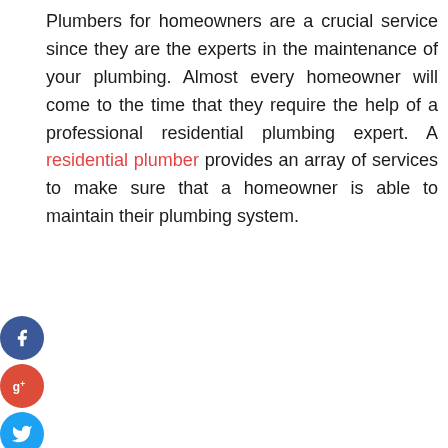Plumbers for homeowners are a crucial service since they are the experts in the maintenance of your plumbing. Almost every homeowner will come to the time that they require the help of a professional residential plumbing expert. A residential plumber provides an array of services to make sure that a homeowner is able to maintain their plumbing system.
[Figure (infographic): Social media share icons: Facebook (blue circle with f), Google+ (red circle with g+), Twitter (light blue circle with bird), and a dark circle with plus sign]